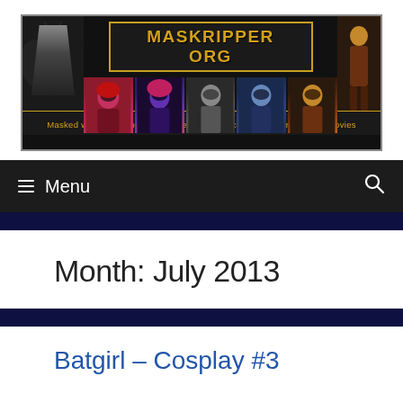[Figure (illustration): Maskripper.org website banner showing masked women in superhero/cosplay costumes with site title 'MASKRIPPER ORG' and subtitle 'Masked women in movies, tv-series, cosplay, comics, fan art and fan movies']
☰ Menu
Month: July 2013
Batgirl – Cosplay #3